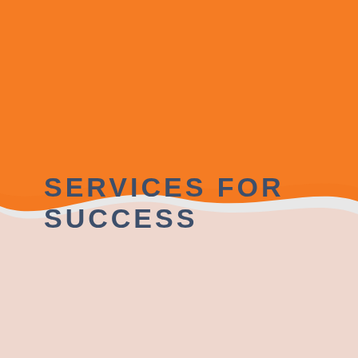[Figure (illustration): Orange background covering the top ~57% of the page with a flowing wave at the bottom edge. Below the wave is a light grey background. A soft peach/salmon colored wave shadow appears just below the main orange wave, creating a layered effect.]
SERVICES FOR SUCCESS